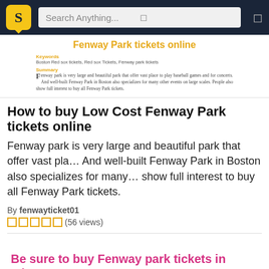Search Anything...
[Figure (screenshot): Document preview card showing article title 'Fenway Park tickets online' in yellow/gold, with Keywords and Summary sections in small text]
How to buy Low Cost Fenway Park tickets online
Fenway park is very large and beautiful park that offer vast place to play baseball games and for concerts. And well-built Fenway Park in Boston also specializes for many other events on large scales. People also show full interest to buy all Fenway Park tickets.
By fenwayticket01
(56 views)
Be sure to buy Fenway park tickets in advance